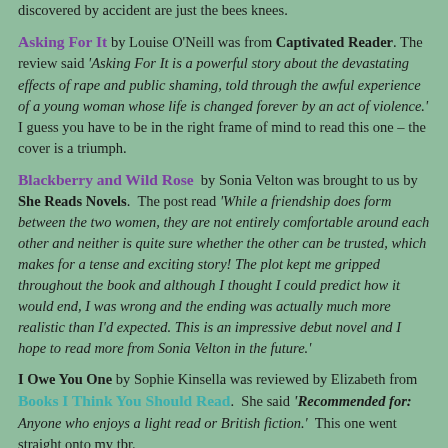discovered by accident are just the bees knees.
Asking For It by Louise O'Neill was from Captivated Reader. The review said 'Asking For It is a powerful story about the devastating effects of rape and public shaming, told through the awful experience of a young woman whose life is changed forever by an act of violence.' I guess you have to be in the right frame of mind to read this one – the cover is a triumph.
Blackberry and Wild Rose by Sonia Velton was brought to us by She Reads Novels. The post read 'While a friendship does form between the two women, they are not entirely comfortable around each other and neither is quite sure whether the other can be trusted, which makes for a tense and exciting story! The plot kept me gripped throughout the book and although I thought I could predict how it would end, I was wrong and the ending was actually much more realistic than I'd expected. This is an impressive debut novel and I hope to read more from Sonia Velton in the future.'
I Owe You One by Sophie Kinsella was reviewed by Elizabeth from Books I Think You Should Read. She said 'Recommended for: Anyone who enjoys a light read or British fiction.' This one went straight onto my tbr.